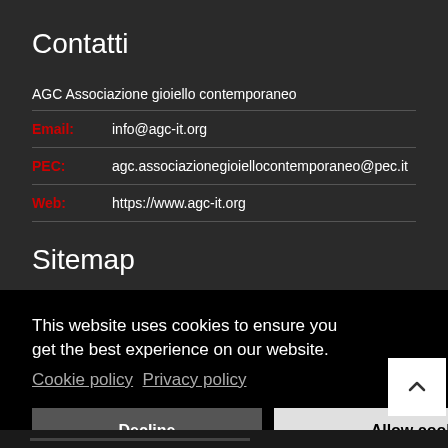Contatti
AGC Associazione gioiello contemporaneo
Email:  info@agc-it.org
PEC:    agc.associazionegioiellocontemporaneo@pec.it
Web:    https://www.agc-it.org
Sitemap
This website uses cookies to ensure you get the best experience on our website. Cookie policy  Privacy policy
Decline
Allow cookies